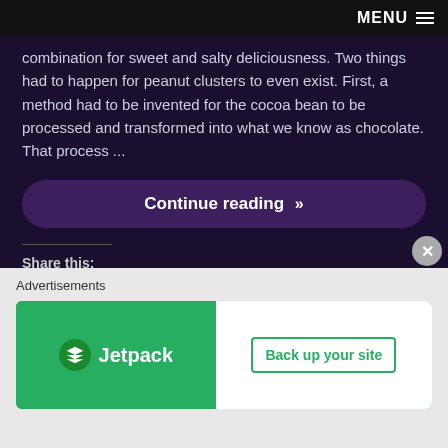MENU
combination for sweet and salty deliciousness. Two things had to happen for peanut clusters to even exist. First, a method had to be invented for the cocoa bean to be processed and transformed into what we know as chocolate. That process ...
Continue reading »
Share this:
Twitter
Facebook
Pinterest
Email
Print
LinkedIn
Reddit
Tumblr
Pocket
Telegram
WhatsApp
Skype
Advertisements
[Figure (other): Jetpack advertisement banner with green background — left side shows Jetpack logo and brand name, right side shows white panel with 'Back up your site' call to action button in green]